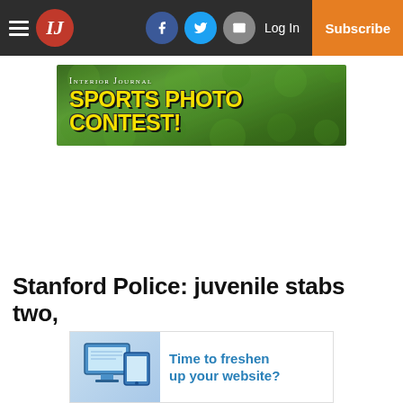Interior Journal — Navigation bar with logo, social icons, Log In, Subscribe
[Figure (illustration): Interior Journal Sports Photo Contest banner ad with green foliage background]
Stanford Police: juvenile stabs two,
[Figure (illustration): Advertisement: Time to freshen up your website? with laptop/screen graphic]